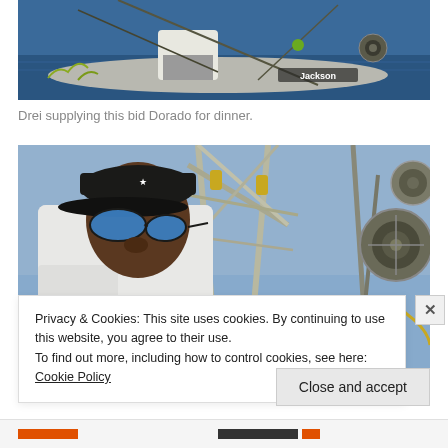[Figure (photo): Outdoor fishing scene on water, showing a kayak with fishing rods, a person in white clothing, and the word 'Jackson' visible on the equipment. Blue water in background.]
Drei supplying this bid Dorado for dinner.
[Figure (photo): Close-up portrait of a man wearing a black cap and blue mirrored sunglasses, dressed in a white long-sleeve shirt, standing near metallic rigging and fishing rods against a blue sky.]
Privacy & Cookies: This site uses cookies. By continuing to use this website, you agree to their use.
To find out more, including how to control cookies, see here: Cookie Policy
Close and accept